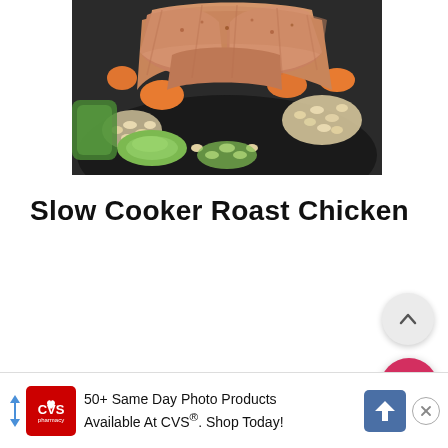[Figure (photo): Raw whole chicken with spices, surrounded by vegetables including zucchini, carrots, and white beans in a slow cooker pot, viewed from above.]
Slow Cooker Roast Chicken
[Figure (screenshot): Scroll-to-top button (chevron up icon) on a light gray circular button, positioned in the bottom right area of the screen.]
[Figure (screenshot): Search button (magnifying glass icon) on a pink/red circular button, positioned below the scroll-to-top button.]
[Figure (screenshot): CVS Pharmacy advertisement banner at the bottom of the page. Shows CVS logo, text '50+ Same Day Photo Products Available At CVS®. Shop Today!', a blue direction arrow badge, and a close (X) button.]